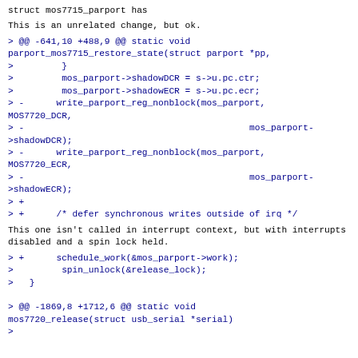struct mos7715_parport has
This is an unrelated change, but ok.
> @@ -641,10 +488,9 @@ static void parport_mos7715_restore_state(struct parport *pp,
>         }
>         mos_parport->shadowDCR = s->u.pc.ctr;
>         mos_parport->shadowECR = s->u.pc.ecr;
> -      write_parport_reg_nonblock(mos_parport, MOS7720_DCR,
> -                                          mos_parport->shadowDCR);
> -      write_parport_reg_nonblock(mos_parport, MOS7720_ECR,
> -                                          mos_parport->shadowECR);
> +
> +      /* defer synchronous writes outside of irq */
This one isn't called in interrupt context, but with interrupts
disabled and a spin lock held.
> +      schedule_work(&mos_parport->work);
>         spin_unlock(&release_lock);
>   }

> @@ -1869,8 +1712,6 @@ static void mos7720_release(struct usb_serial *serial)
>